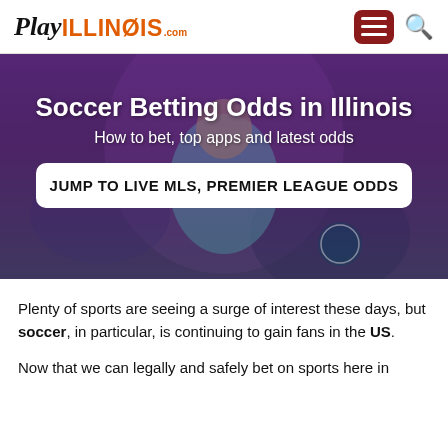PlayILLINOIS.com
[Figure (photo): Hero banner image of a soccer player in a light blue jersey with a blurred purple/stadium background. Overlaid with title 'Soccer Betting Odds in Illinois', subtitle 'How to bet, top apps and latest odds', and a white button 'JUMP TO LIVE MLS, PREMIER LEAGUE ODDS'.]
Soccer Betting Odds in Illinois
How to bet, top apps and latest odds
JUMP TO LIVE MLS, PREMIER LEAGUE ODDS
Plenty of sports are seeing a surge of interest these days, but soccer, in particular, is continuing to gain fans in the US.
Now that we can legally and safely bet on sports here in